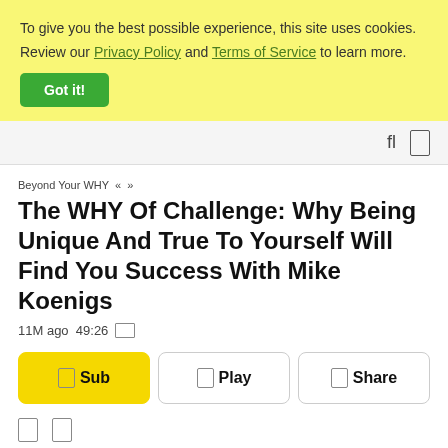To give you the best possible experience, this site uses cookies. Review our Privacy Policy and Terms of Service to learn more.
Got it!
fl  []
Beyond Your WHY « »
The WHY Of Challenge: Why Being Unique And True To Yourself Will Find You Success With Mike Koenigs
11M ago 49:26
Sub  Play  Share
[]  []